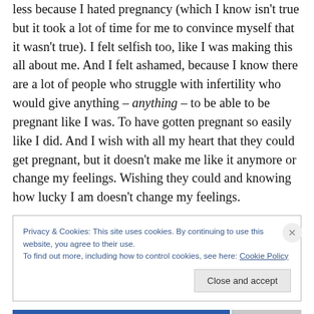less because I hated pregnancy (which I know isn't true but it took a lot of time for me to convince myself that it wasn't true). I felt selfish too, like I was making this all about me. And I felt ashamed, because I know there are a lot of people who struggle with infertility who would give anything – anything – to be able to be pregnant like I was. To have gotten pregnant so easily like I did. And I wish with all my heart that they could get pregnant, but it doesn't make me like it anymore or change my feelings. Wishing they could and knowing how lucky I am doesn't change my feelings.
Privacy & Cookies: This site uses cookies. By continuing to use this website, you agree to their use. To find out more, including how to control cookies, see here: Cookie Policy
Close and accept